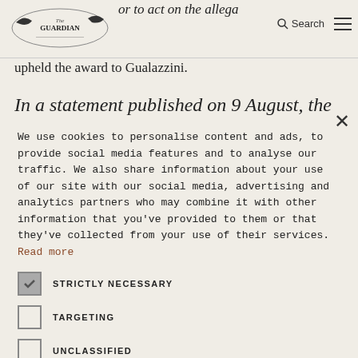...or to act on the allega... [partial article text visible behind header] upheld the award to Gualazzini.
In a statement published on 9 August, the board of
We use cookies to personalise content and ads, to provide social media features and to analyse our traffic. We also share information about your use of our site with our social media, advertising and analytics partners who may combine it with other information that you've provided to them or that they've collected from your use of their services. Read more
STRICTLY NECESSARY
TARGETING
UNCLASSIFIED
ACCEPT ALL
DECLINE ALL
SHOW DETAILS